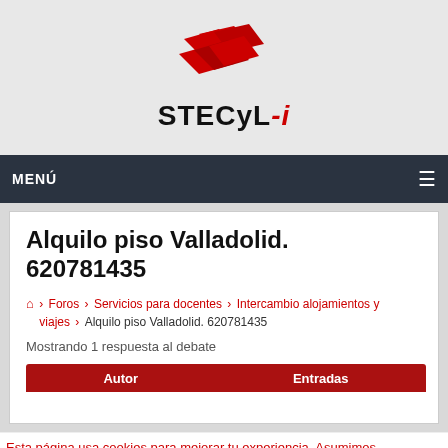[Figure (logo): STECyL-i logo with red wave/flag shapes above bold text STECyL-i]
MENÚ
Alquilo piso Valladolid. 620781435
🏠 › Foros › Servicios para docentes › Intercambio alojamientos y viajes › Alquilo piso Valladolid. 620781435
Mostrando 1 respuesta al debate
Esta página usa cookies para mejorar tu experiencia. Asumimos